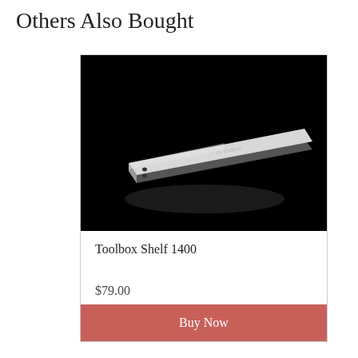Others Also Bought
[Figure (photo): A white metal toolbox shelf (Toolbox Shelf 1400) photographed at an angle on a black background, showing a long flat rectangular shelf with rounded front edge and mounting holes.]
Toolbox Shelf 1400
$79.00
Buy Now